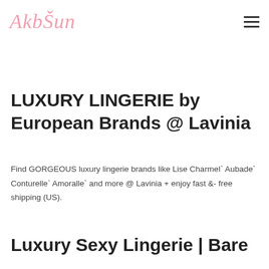AkbŠun
LUXURY LINGERIE by European Brands @ Lavinia
Find GORGEOUS luxury lingerie brands like Lise Charmel` Aubade` Conturelle` Amoralle` and more @ Lavinia + enjoy fast &- free shipping (US).
Luxury Sexy Lingerie | Bare